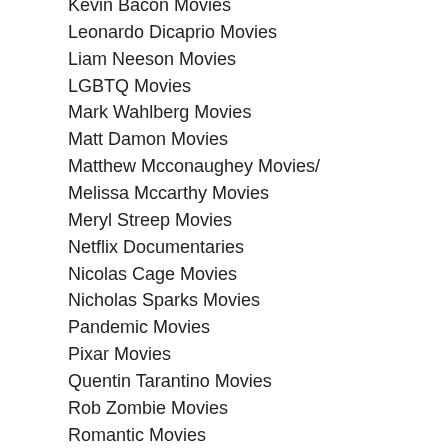Kevin Bacon Movies
Leonardo Dicaprio Movies
Liam Neeson Movies
LGBTQ Movies
Mark Wahlberg Movies
Matt Damon Movies
Matthew Mcconaughey Movies/
Melissa Mccarthy Movies
Meryl Streep Movies
Netflix Documentaries
Nicolas Cage Movies
Nicholas Sparks Movies
Pandemic Movies
Pixar Movies
Quentin Tarantino Movies
Rob Zombie Movies
Romantic Movies
Ryan Gosling Movies
Sad Movies
Samuel L Jackson Movies
Serial Killer Movies
Shark Movies